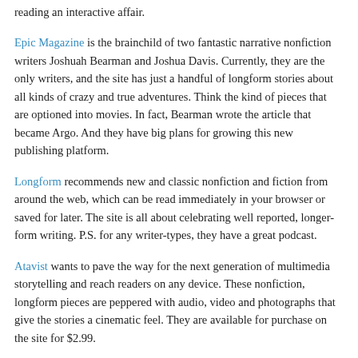reading an interactive affair.
Epic Magazine is the brainchild of two fantastic narrative nonfiction writers Joshuah Bearman and Joshua Davis. Currently, they are the only writers, and the site has just a handful of longform stories about all kinds of crazy and true adventures. Think the kind of pieces that are optioned into movies. In fact, Bearman wrote the article that became Argo. And they have big plans for growing this new publishing platform.
Longform recommends new and classic nonfiction and fiction from around the web, which can be read immediately in your browser or saved for later. The site is all about celebrating well reported, longer-form writing. P.S. for any writer-types, they have a great podcast.
Atavist wants to pave the way for the next generation of multimedia storytelling and reach readers on any device. These nonfiction, longform pieces are peppered with audio, video and photographs that give the stories a cinematic feel. They are available for purchase on the site for $2.99.